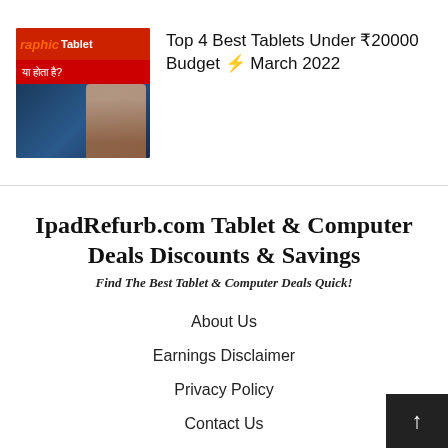[Figure (screenshot): Thumbnail image of a video about graphic tablets with Hindi text and a person holding a tablet]
Top 4 Best Tablets Under ₹20000 Budget ⚡ March 2022
IpadRefurb.com Tablet & Computer Deals Discounts & Savings
Find The Best Tablet & Computer Deals Quick!
About Us
Earnings Disclaimer
Privacy Policy
Contact Us